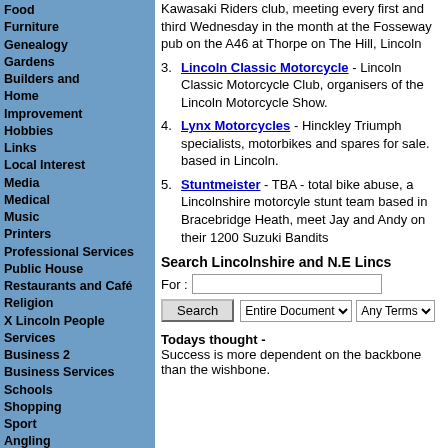Food
Furniture
Genealogy
Gardens
Builders and Home Improvement
Hobbies
Links
Local Interest
Media
Medical
Music
Printers
Professional Services
Public House
Restaurants and Café
Religion
X Lincoln People
Services
Business 2
Business Services
Schools
Shopping
Sport
Angling
Towns in Lincolnshire
Travel
Visual & Arts
Web Design
Weddings
Others
Kawasaki Riders club, meeting every first and third Wednesday in the month at the Fosseway pub on the A46 at Thorpe on The Hill, Lincoln
3. Lincoln Classic Motorcycle - Lincoln Classic Motorcycle Club, organisers of the Lincoln Motorcycle Show.
4. Lynx Motorcycles - Hinckley Triumph specialists, motorbikes and spares for sale. based in Lincoln.
5. Stuntmeister - TBA - total bike abuse, a Lincolnshire motorcyle stunt team based in Bracebridge Heath, meet Jay and Andy on their 1200 Suzuki Bandits
Search Lincolnshire and N.E Lincs
For :
Search   Entire Document   Any Terms
Todays thought - Success is more dependent on the backbone than the wishbone.